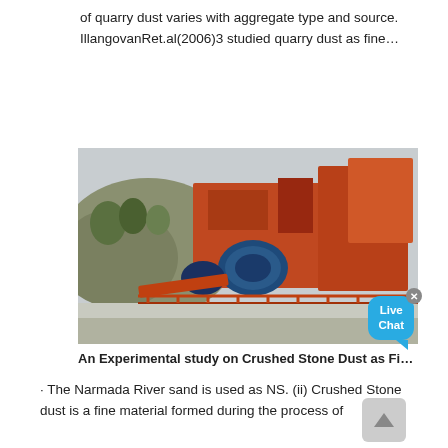of quarry dust varies with aggregate type and source. IllangovanRet.al(2006)3 studied quarry dust as fine…
[Figure (photo): Photograph of industrial stone crushing machinery (orange-colored crusher equipment) on a concrete platform with rocky hillside in background. A 'Live Chat' popup bubble is overlaid in the upper right corner.]
An Experimental study on Crushed Stone Dust as Fi…
· The Narmada River sand is used as NS. (ii) Crushed Stone dust is a fine material formed during the process of